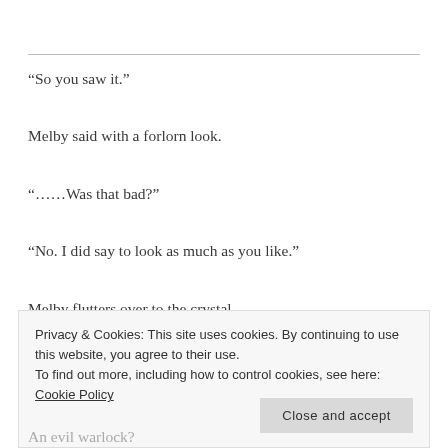“So you saw it.”
Melby said with a forlorn look.
“……Was that bad?”
“No. I did say to look as much as you like.”
Melby flutters over to the crystal.
Privacy & Cookies: This site uses cookies. By continuing to use this website, you agree to their use. To find out more, including how to control cookies, see here: Cookie Policy
Close and accept
An evil warlock?